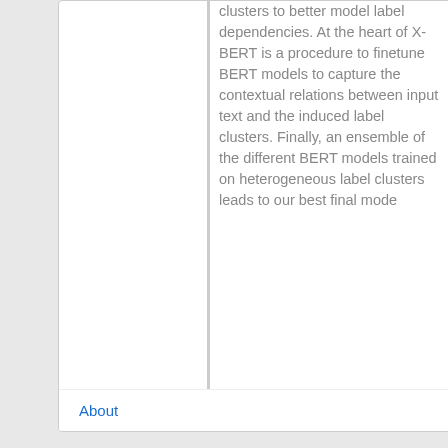clusters to better model label dependencies. At the heart of X-BERT is a procedure to finetune BERT models to capture the contextual relations between input text and the induced label clusters. Finally, an ensemble of the different BERT models trained on heterogeneous label clusters leads to our best final mode
About   2021-01-10